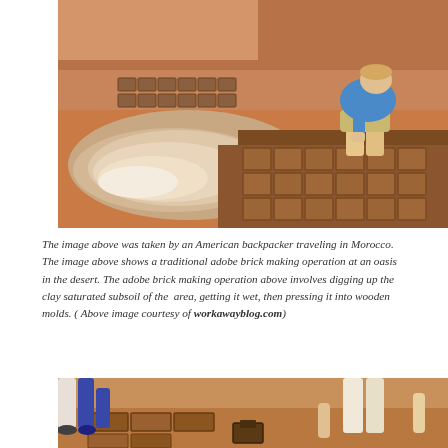[Figure (photo): A person crouching down making adobe bricks at an oasis in the Moroccan desert. Rows of drying mud bricks are visible on reddish sandy ground, with muddy water in the foreground.]
The image above was taken by an American backpacker traveling in Morocco. The image above shows a traditional adobe brick making operation at an oasis in the desert. The adobe brick making operation above involves digging up the clay saturated subsoil of the area, getting it wet, then pressing it into wooden molds. ( Above image courtesy of workawayblog.com)
[Figure (photo): Partial view of people working with adobe bricks near wooden molds on sandy ground, showing legs and hands at the bottom of the frame.]